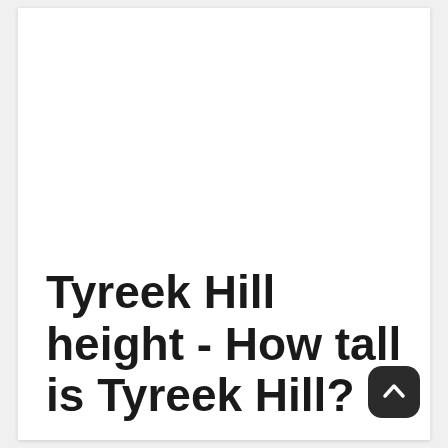Tyreek Hill height - How tall is Tyreek Hill?